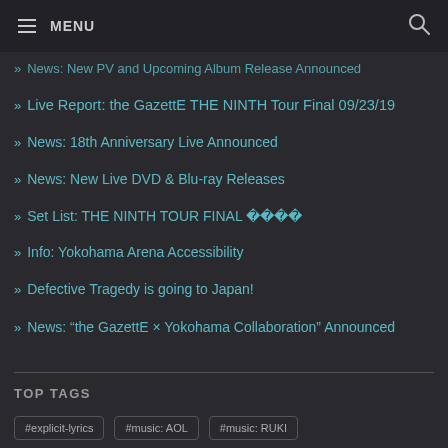≡ MENU
» News: New PV and Upcoming Album Release Announced
» Live Report: the GazettE THE NINTH Tour Final 09/23/19
» News: 18th Anniversary Live Announced
» News: New Live DVD & Blu-ray Releases
» Set List: THE NINTH TOUR FINAL 横浜アリーナ
» Info: Yokohama Arena Accessibility
» Defective Tragedy is going to Japan!
» News: "the GazettE × Yokohama Collaboration" Announced
TOP TAGS
#explicit-lyrics  #music: AOL  #music: RUKI